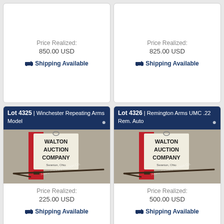Price Realized: 850.00 USD
Shipping Available
Price Realized: 825.00 USD
Shipping Available
Lot 4325 | Winchester Repeating Arms Model
[Figure (photo): Auction photo of Winchester Repeating Arms firearm in front of Walton Auction Company sign]
Price Realized: 225.00 USD
Shipping Available
Lot 4326 | Remington Arms UMC .22 Rem. Auto
[Figure (photo): Auction photo of Remington Arms UMC .22 Rem. Auto firearm in front of Walton Auction Company sign]
Price Realized: 500.00 USD
Shipping Available